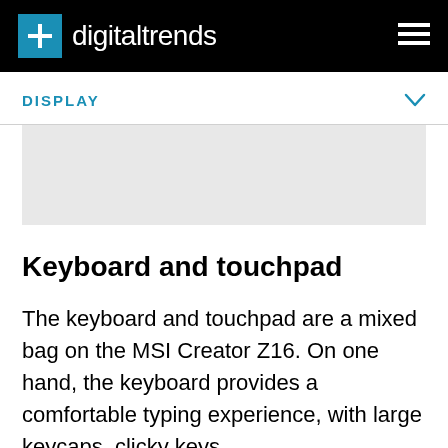digitaltrends
DISPLAY
[Figure (other): Gray advertisement placeholder box]
Keyboard and touchpad
The keyboard and touchpad are a mixed bag on the MSI Creator Z16. On one hand, the keyboard provides a comfortable typing experience, with large keycaps, clicky keys